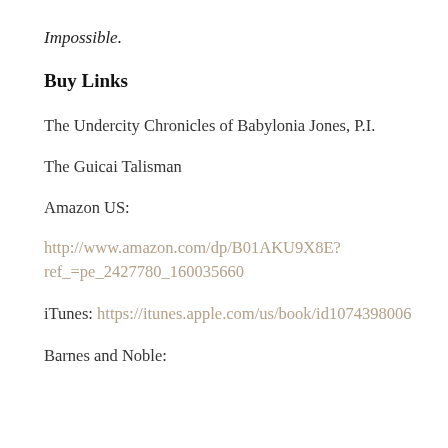Impossible.
Buy Links
The Undercity Chronicles of Babylonia Jones, P.I.
The Guicai Talisman
Amazon US:
http://www.amazon.com/dp/B01AKU9X8E?ref_=pe_2427780_160035660
iTunes: https://itunes.apple.com/us/book/id1074398006
Barnes and Noble: